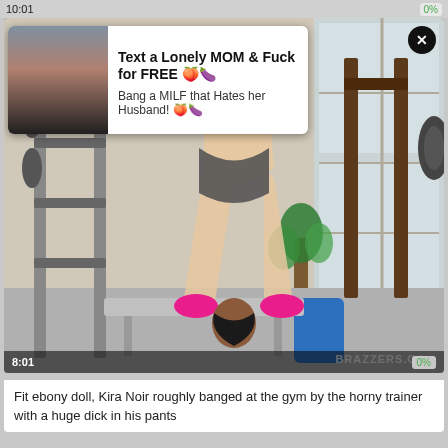10:01   0%
[Figure (photo): Adult content video thumbnail showing gym scene with Brazzers watermark, timestamp 8:01, 0% progress]
Text a Lonely MOM & Fuck for FREE 🍑🍆
Bang a MILF that Hates her Husband! 🍑🍆
Fit ebony doll, Kira Noir roughly banged at the gym by the horny trainer with a huge dick in his pants